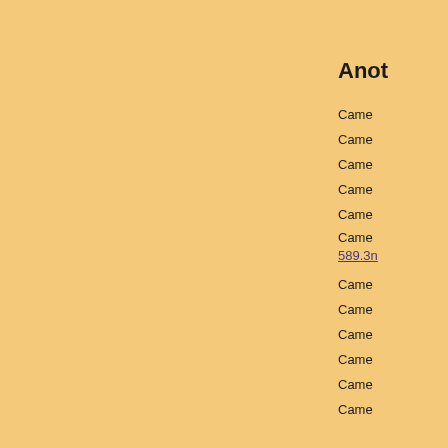Anot
Came
Came
Came
Came
Came
Came 589.3n
Came
Came
Came
Came
Came
Came
Came
Came
Came
Came
Came
TILTI
TILTI
CameraI , 486.1nm
Date : 20180916
Click figure to enlarge